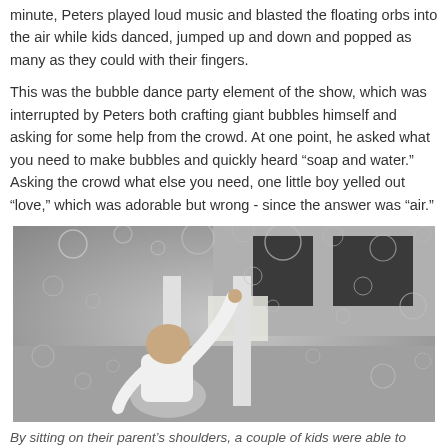minute, Peters played loud music and blasted the floating orbs into the air while kids danced, jumped up and down and popped as many as they could with their fingers.
This was the bubble dance party element of the show, which was interrupted by Peters both crafting giant bubbles himself and asking for some help from the crowd. At one point, he asked what you need to make bubbles and quickly heard “soap and water.” Asking the crowd what else you need, one little boy yelled out “love,” which was adorable but wrong - since the answer was “air.”
[Figure (photo): Black and white photo of a young child reaching up toward floating soap bubbles in the air, taken from behind. The child is wearing a white t-shirt. Multiple bubbles of various sizes fill the scene.]
By sitting on their parent’s shoulders, a couple of kids were able to avoid the crowd while the bubble machine was on